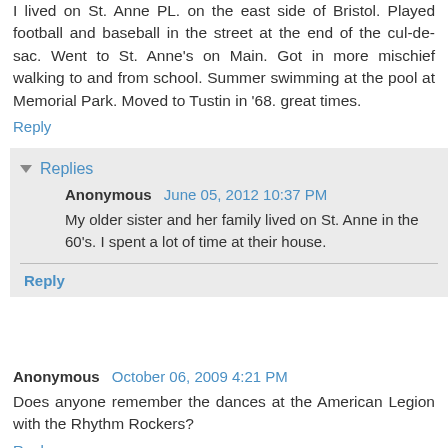I lived on St. Anne PL. on the east side of Bristol. Played football and baseball in the street at the end of the cul-de-sac. Went to St. Anne's on Main. Got in more mischief walking to and from school. Summer swimming at the pool at Memorial Park. Moved to Tustin in '68. great times.
Reply
Replies
Anonymous  June 05, 2012 10:37 PM
My older sister and her family lived on St. Anne in the 60's. I spent a lot of time at their house.
Reply
Anonymous  October 06, 2009 4:21 PM
Does anyone remember the dances at the American Legion with the Rhythm Rockers?
Reply